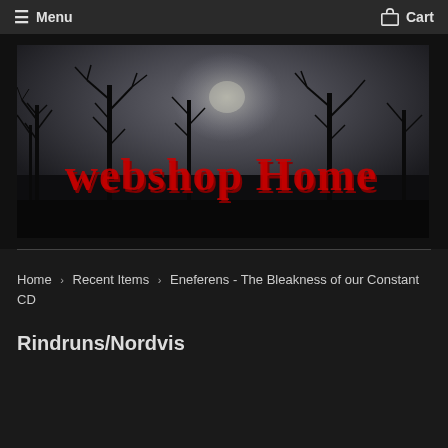Menu   Cart
[Figure (illustration): Dark atmospheric banner image showing bare winter trees silhouetted against a grey overcast sky with a faint moon. Large red gothic-style text reads 'webshop Home' overlaid on the image.]
Home › Recent Items › Eneferens - The Bleakness of our Constant CD
Rindruns/Nordvis